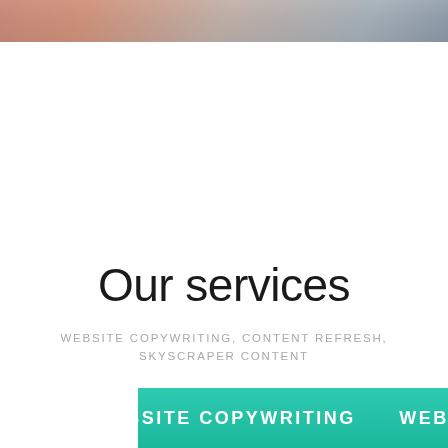[Figure (photo): Partial photo strip at top showing people working at computers/desks, cropped to show only the bottom portion]
Our services
WEBSITE COPYWRITING, CONTENT REFRESH, SKYSCRAPER CONTENT
WEBSITE COPYWRITING